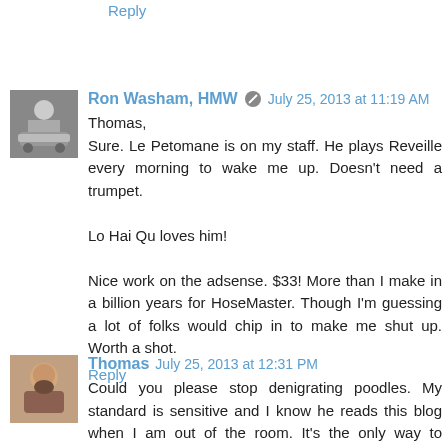Reply
[Figure (photo): Black and white avatar photo of Ron Washam, HMW showing a person near a vehicle]
Ron Washam, HMW  July 25, 2013 at 11:19 AM
Thomas,
Sure. Le Petomane is on my staff. He plays Reveille every morning to wake me up. Doesn't need a trumpet.

Lo Hai Qu loves him!

Nice work on the adsense. $33! More than I make in a billion years for HoseMaster. Though I'm guessing a lot of folks would chip in to make me shut up. Worth a shot.
Reply
[Figure (photo): Color avatar photo of Thomas showing a man with beard]
Thomas  July 25, 2013 at 12:31 PM
Could you please stop denigrating poodles. My standard is sensitive and I know he reads this blog when I am out of the room. It's the only way to explain the fact that each day, the cookies are erased--or eaten.